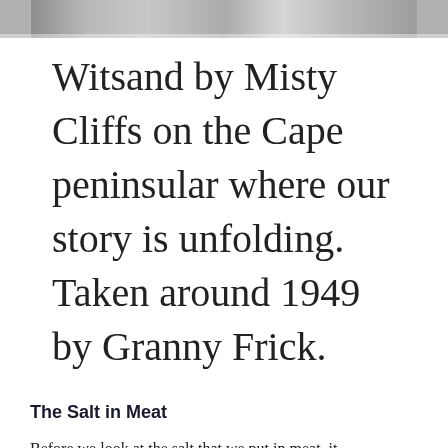[Figure (photo): Black and white photograph strip showing misty cliffs, partially cropped at top of page]
Witsand by Misty Cliffs on the Cape peninsular where our story is unfolding. Taken around 1949 by Granny Frick.
The Salt in Meat
Before we look at the salt that we put in meat, it